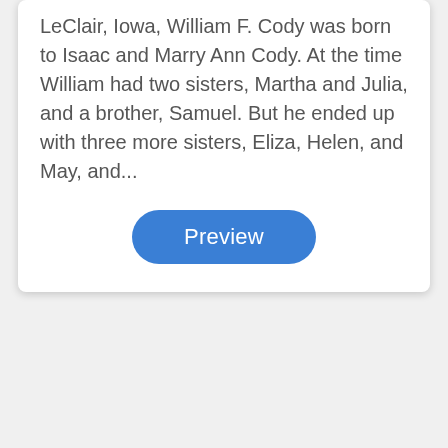LeClair, Iowa, William F. Cody was born to Isaac and Marry Ann Cody. At the time William had two sisters, Martha and Julia, and a brother, Samuel. But he ended up with three more sisters, Eliza, Helen, and May, and...
Preview